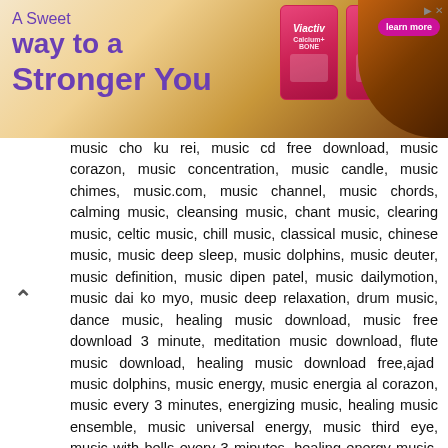[Figure (photo): Viactiv Calcium+ Bone supplement advertisement banner with purple text 'A Sweet way to a Stronger You', product boxes, chocolate swirl background, and 'learn more' button]
music cho ku rei, music cd free download, music corazon, music concentration, music candle, music chimes, music.com, music channel, music chords, calming music, cleansing music, chant music, clearing music, celtic music, chill music, classical music, chinese music, music deep sleep, music dolphins, music deuter, music definition, music dipen patel, music dailymotion, music dai ko myo, music deep relaxation, drum music, dance music, healing music download, music free download 3 minute, meditation music download, flute music download, healing music download free,ajad music dolphins, music energy, music energia al corazon, music every 3 minutes, energizing music, healing music ensemble, music universal energy, music third eye, music with bells every 3 minutes, healing energy music, music to clear negative energy, music free download, music for sleeping, music for abundance, music for weight loss, music free, music for fertility, music for relaxation, music for self healing, music for babies, music for chakra healing, music free download meditation, music for headache, music for clearing negative energy, music for happiness, music gold, music gratis download, guitar music, gold music free